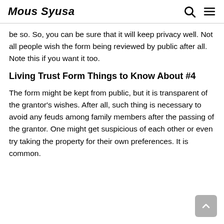Mous Syusa
be so. So, you can be sure that it will keep privacy well. Not all people wish the form being reviewed by public after all. Note this if you want it too.
Living Trust Form Things to Know About #4
The form might be kept from public, but it is transparent of the grantor's wishes. After all, such thing is necessary to avoid any feuds among family members after the passing of the grantor. One might get suspicious of each other or even try taking the property for their own preferences. It is common.